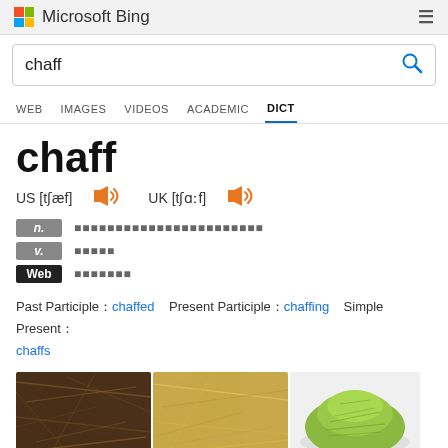Microsoft Bing
chaff (search query)
WEB  IMAGES  VIDEOS  ACADEMIC  DICT
chaff
US [tʃæf]  UK [tʃɑːf]
| POS | Definition |
| --- | --- |
| n. | （redacted Chinese characters） |
| v. | （redacted） |
| Web | （redacted） |
Past Participle：chaffed  Present Participle：chaffing  Simple Present：chaffs
[Figure (photo): Three images of chaff: dark brown chaff, straw-colored chaff, and a pile of green chaff]